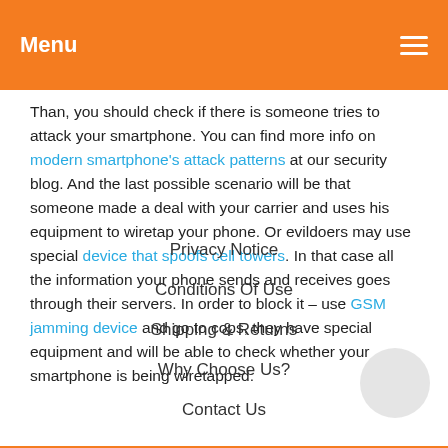Menu
Than, you should check if there is someone tries to attack your smartphone. You can find more info on modern smartphone's attack patterns at our security blog. And the last possible scenario will be that someone made a deal with your carrier and uses his equipment to wiretap your phone. Or evildoers may use special device that spoofs cell towers. In that case all the information your phone sends and receives goes through their servers. In order to block it – use GSM jamming device and go to cops, they have special equipment and will be able to check whether your smartphone is being wiretapped.
Privacy Notice
Conditions Of Use
Shipping & Returns
Why Choose Us?
Contact Us